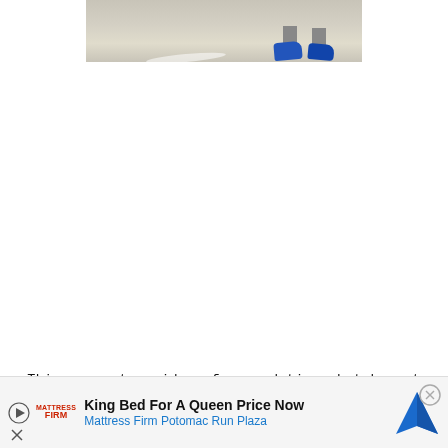[Figure (photo): Partial photo showing someone's feet/legs wearing blue sneakers on a light-colored tile floor, cropped at top of page]
This was not my idea of a good time, but he got the biggest kick out of trying on the masks, having me take a picture and then looking at himself :)  He's a
[Figure (other): Advertisement banner for Mattress Firm: 'King Bed For A Queen Price Now' with Mattress Firm Potomac Run Plaza, featuring a navigation/map icon]